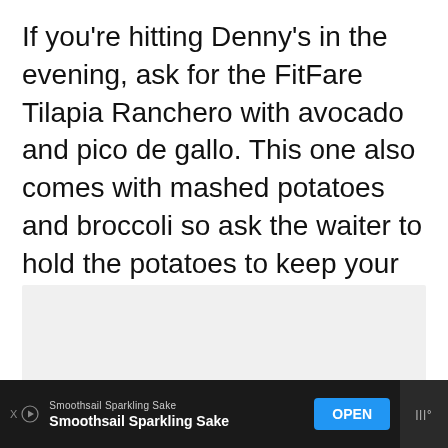If you're hitting Denny's in the evening, ask for the FitFare Tilapia Ranchero with avocado and pico de gallo. This one also comes with mashed potatoes and broccoli so ask the waiter to hold the potatoes to keep your carb count within your limits.
[Figure (other): Light gray rectangular image placeholder area]
Smoothsail Sparkling Sake | Smoothsail Sparkling Sake | OPEN